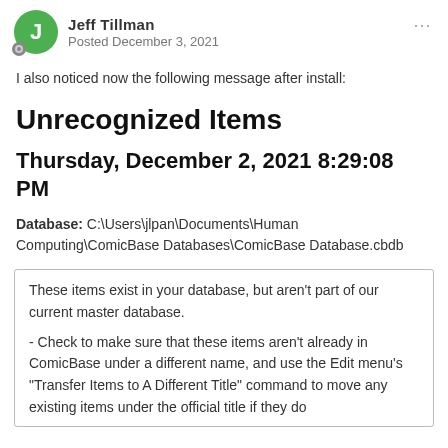Jeff Tillman
Posted December 3, 2021
I also noticed now the following message after install:
Unrecognized Items
Thursday, December 2, 2021 8:29:08 PM
Database: C:\Users\jlpan\Documents\Human Computing\ComicBase Databases\ComicBase Database.cbdb
These items exist in your database, but aren't part of our current master database.

- Check to make sure that these items aren't already in ComicBase under a different name, and use the Edit menu's "Transfer Items to A Different Title" command to move any existing items under the official title if they do